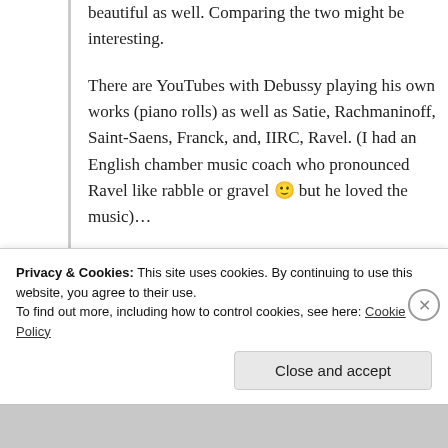beautiful as well. Comparing the two might be interesting.

There are YouTubes with Debussy playing his own works (piano rolls) as well as Satie, Rachmaninoff, Saint-Saens, Franck, and, IIRC, Ravel. (I had an English chamber music coach who pronounced Ravel like rabble or gravel 🙂 but he loved the music)…
★ Liked by 4 people
Privacy & Cookies: This site uses cookies. By continuing to use this website, you agree to their use.
To find out more, including how to control cookies, see here: Cookie Policy